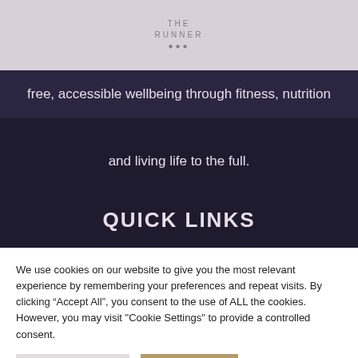THE RUNNER
free, accessible wellbeing through fitness, nutrition and living life to the full.
[Figure (other): Social media icons: Instagram, Pinterest, Email, Search]
QUICK LINKS
We use cookies on our website to give you the most relevant experience by remembering your preferences and repeat visits. By clicking “Accept All”, you consent to the use of ALL the cookies. However, you may visit "Cookie Settings" to provide a controlled consent.